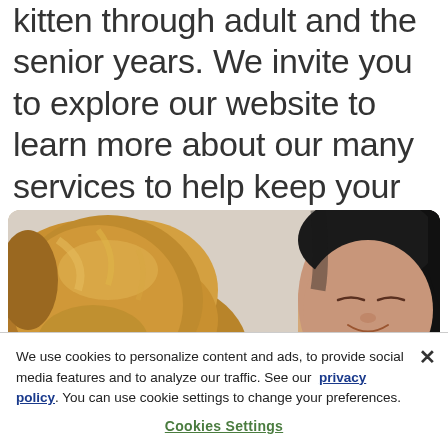kitten through adult and the senior years. We invite you to explore our website to learn more about our many services to help keep your pet happy and healthy!
[Figure (photo): A golden retriever dog face close to a smiling woman with dark hair, on a light background.]
We use cookies to personalize content and ads, to provide social media features and to analyze our traffic. See our privacy policy. You can use cookie settings to change your preferences.
Cookies Settings